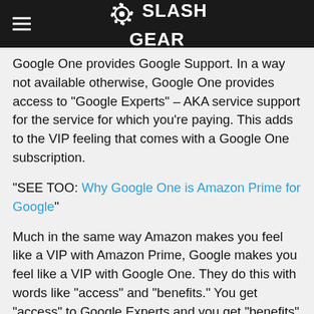SlashGear
Google One provides Google Support. In a way not available otherwise, Google One provides access to "Google Experts" – AKA service support for the service for which you're paying. This adds to the VIP feeling that comes with a Google One subscription.
"SEE TOO: Why Google One is Amazon Prime for Google"
Much in the same way Amazon makes you feel like a VIP with Amazon Prime, Google makes you feel like a VIP with Google One. They do this with words like "access" and "benefits." You get "access" to Google Experts and you get "benefits" like a digital $5 Google Play gift card every once in a while, or coupons for